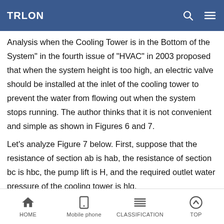TRLON
top of the cooling water pipe, as shown in Figure 6. Or set a vent pipe at the top, as shown in Figure 7. The article "Hydraulic Analysis when the Cooling Tower is in the Bottom of the System" in the fourth issue of "HVAC" in 2003 proposed that when the system height is too high, an electric valve should be installed at the inlet of the cooling tower to prevent the water from flowing out when the system stops running. The author thinks that it is not convenient and simple as shown in Figures 6 and 7.
Let's analyze Figure 7 below. First, suppose that the resistance of section ab is hab, the resistance of section bc is hbc, the pump lift is H, and the required outlet water pressure of the cooling tower is hlq.
The first case: h2=hbc+hlq, the pump lift of the pipeline only needs to overcome the height difference between the resistance of the ab section and ab, that is, H=hab+h1+h2. At this time, the height of the
HOME   Mobile phone   CLASSIFICATION   TOP